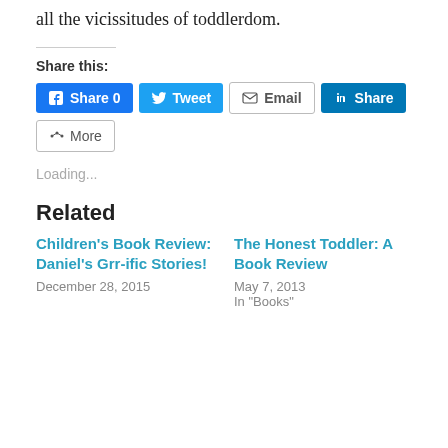...tends to get thal, keeping a positive mindset throughout all the vicissitudes of toddlerdom.
Share this:
[Figure (other): Social share buttons: Facebook Share 0, Twitter Tweet, Email, LinkedIn Share, More]
Loading...
Related
Children's Book Review: Daniel's Grr-ific Stories!
December 28, 2015
The Honest Toddler: A Book Review
May 7, 2013
In "Books"